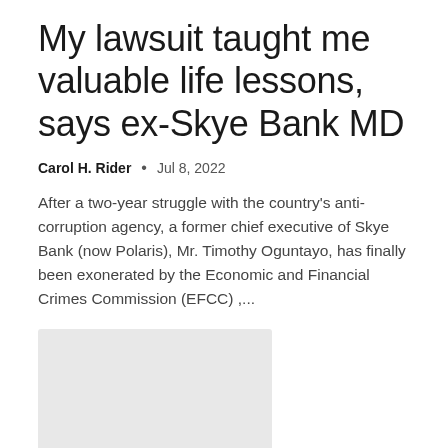My lawsuit taught me valuable life lessons, says ex-Skye Bank MD
Carol H. Rider  •  Jul 8, 2022
After a two-year struggle with the country's anti-corruption agency, a former chief executive of Skye Bank (now Polaris), Mr. Timothy Oguntayo, has finally been exonerated by the Economic and Financial Crimes Commission (EFCC) ,...
[Figure (photo): Gray placeholder image for article thumbnail]
West CAP Partners to Increase